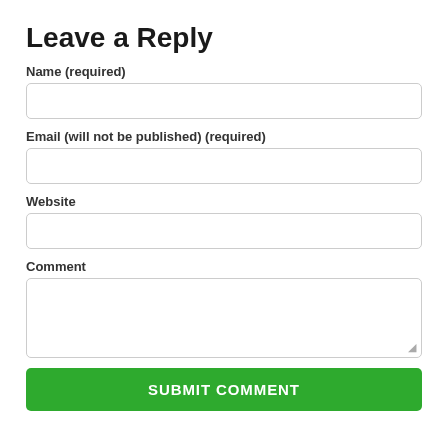Leave a Reply
Name (required)
Email (will not be published) (required)
Website
Comment
SUBMIT COMMENT